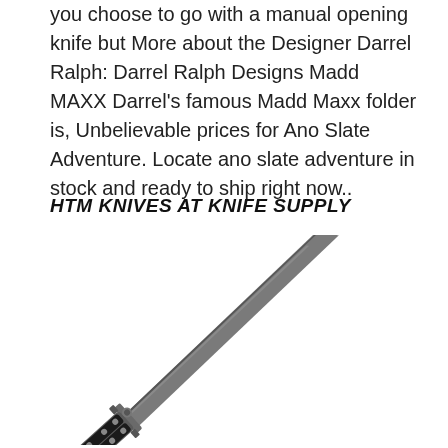you choose to go with a manual opening knife but More about the Designer Darrel Ralph: Darrel Ralph Designs Madd MAXX Darrel's famous Madd Maxx folder is, Unbelievable prices for Ano Slate Adventure. Locate ano slate adventure in stock and ready to ship right now..
HTM KNIVES AT KNIFE SUPPLY
[Figure (photo): A folding knife (HTM Knives) with a long pointed blade and black handle with rivets, shown diagonally on a white background.]